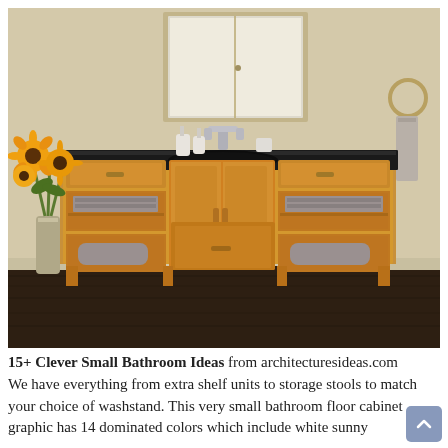[Figure (photo): A bamboo/wood bathroom vanity with black granite countertop, undermount sink with chrome faucet, open shelving on both sides holding folded towels, two cabinet doors in the center, and a drawer at the bottom. A wood-framed medicine cabinet mirror is visible above. Yellow sunflowers in a vase are on the left. Towel ring with hanging towel on the right wall. Dark hardwood floor.]
15+ Clever Small Bathroom Ideas from architecturesideas.com We have everything from extra shelf units to storage stools to match your choice of washstand. This very small bathroom floor cabinet graphic has 14 dominated colors which include white sunny